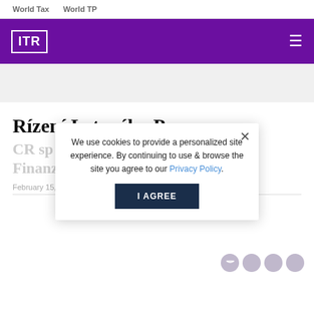World Tax   World TP
[Figure (logo): ITR logo in white on purple background with hamburger menu icon]
Rízení Letového Provozu
CR sp v Bundesamt für Finanzen
February 15, 2007
We use cookies to provide a personalized site experience. By continuing to use & browse the site you agree to our Privacy Policy.